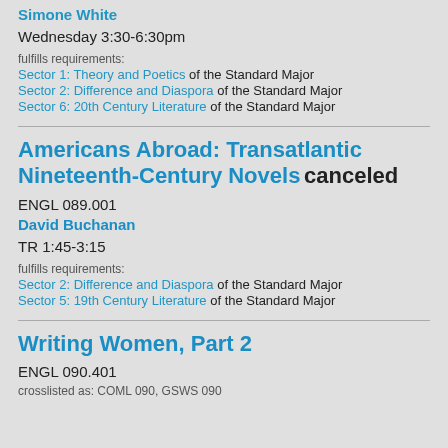Simone White
Wednesday 3:30-6:30pm
fulfills requirements:
Sector 1: Theory and Poetics of the Standard Major
Sector 2: Difference and Diaspora of the Standard Major
Sector 6: 20th Century Literature of the Standard Major
Americans Abroad: Transatlantic Nineteenth-Century Novels canceled
ENGL 089.001
David Buchanan
TR 1:45-3:15
fulfills requirements:
Sector 2: Difference and Diaspora of the Standard Major
Sector 5: 19th Century Literature of the Standard Major
Writing Women, Part 2
ENGL 090.401
crosslisted as: COML 090, GSWS 090